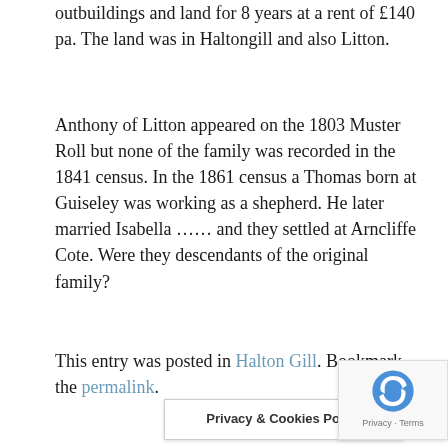outbuildings and land for 8 years at a rent of £140 pa. The land was in Haltongill and also Litton.
Anthony of Litton appeared on the 1803 Muster Roll but none of the family was recorded in the 1841 census. In the 1861 census a Thomas born at Guiseley was working as a shepherd. He later married Isabella …… and they settled at Arncliffe Cote. Were they descendants of the original family?
This entry was posted in Halton Gill. Bookmark the permalink.
Privacy & Cookies Policy